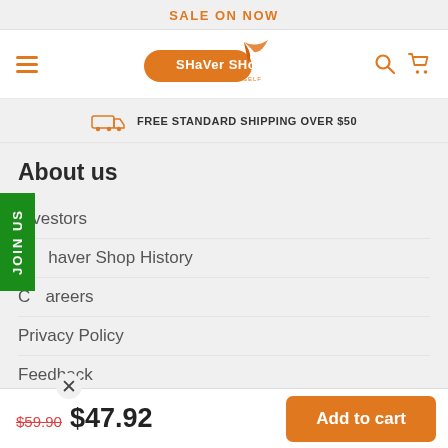SALE ON NOW
[Figure (logo): Shaver Shop logo with orange pill-shaped background, bird/kite motif, and tagline TRANSFORM YOURSELF]
FREE STANDARD SHIPPING OVER $50
About us
Investors
Shaver Shop History
Careers
Privacy Policy
Feedback
JOIN US
$59.90  $47.92
Add to cart